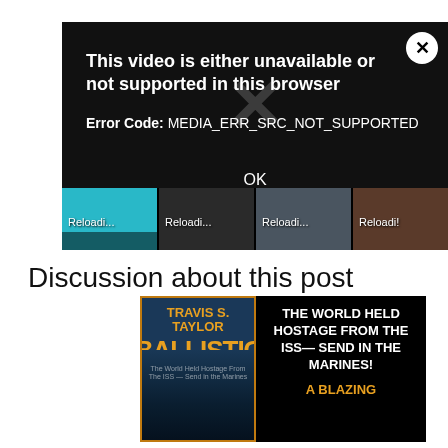[Figure (screenshot): Video player showing error overlay: 'This video is either unavailable or not supported in this browser. Error Code: MEDIA_ERR_SRC_NOT_SUPPORTED. OK.' with close button (X) in top-right, large faded X in center, and four thumbnail strips at bottom each labeled 'Reloadi...']
Discussion about this post
[Figure (photo): Book advertisement showing Travis S. Taylor 'Ballistic' book cover on left with orange title text and dark sci-fi cover art, and on right black background with white bold text: 'THE WORLD HELD HOSTAGE FROM THE ISS—SEND IN THE MARINES!' and orange text 'A BLAZING']